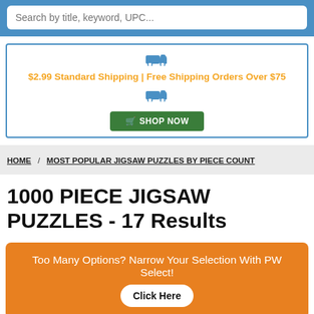Search by title, keyword, UPC...
$2.99 Standard Shipping | Free Shipping Orders Over $75
SHOP NOW
HOME / MOST POPULAR JIGSAW PUZZLES BY PIECE COUNT
1000 PIECE JIGSAW PUZZLES - 17 Results
Too Many Options? Narrow Your Selection With PW Select! Click Here
Sort & Filter